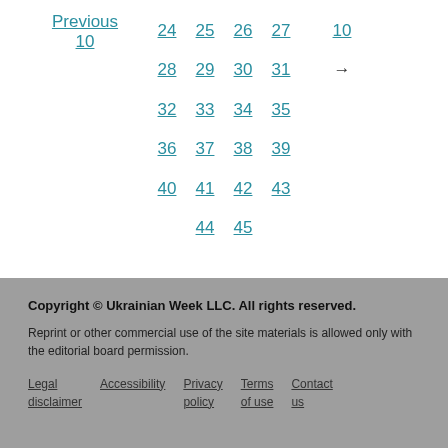Previous 10
24 25 26 27
28 29 30 31
32 33 34 35
36 37 38 39
40 41 42 43
44 45
10 →
Copyright © Ukrainian Week LLC. All rights reserved.
Reprint or other commercial use of the site materials is allowed only with the editorial board permission.
Legal disclaimer   Accessibility   Privacy policy   Terms of use   Contact us